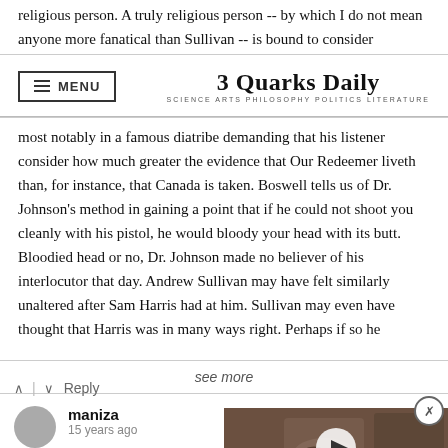religious person. A truly religious person -- by which I do not mean anyone more fanatical than Sullivan -- is bound to consider
3 Quarks Daily — SCIENCE ARTS PHILOSOPHY POLITICS LITERATURE
most notably in a famous diatribe demanding that his listener consider how much greater the evidence that Our Redeemer liveth than, for instance, that Canada is taken. Boswell tells us of Dr. Johnson's method in gaining a point that if he could not shoot you cleanly with his pistol, he would bloody your head with its butt. Bloodied head or no, Dr. Johnson made no believer of his interlocutor that day. Andrew Sullivan may have felt similarly unaltered after Sam Harris had at him. Sullivan may even have thought that Harris was in many ways right. Perhaps if so he
see more
^ | v Reply
maniza
15 years ago
where would Sam Harris be witho inconsequential.